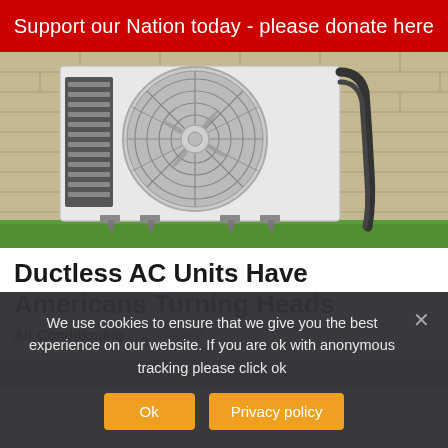Support our Nation today - please donate here
[Figure (photo): Outdoor ductless AC unit mounted on a tan/beige brick wall with black refrigerant lines running along the wall and green grass visible at the bottom.]
Ductless AC Units Have Americans Turning Heads
Air Conditioning | Sponsored
We use cookies to ensure that we give you the best experience on our website. If you are ok with anonymous tracking please click ok